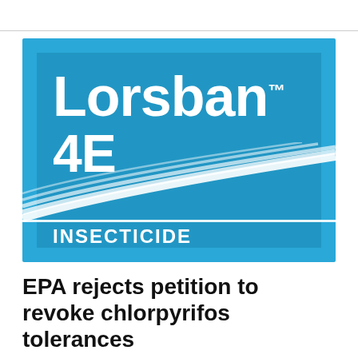[Figure (logo): Lorsban 4E Insecticide product label image on a bright blue background, with white swoosh lines and white text reading 'Lorsban 4E' and 'INSECTICIDE']
EPA rejects petition to revoke chlorpyrifos tolerances
03/29/17 10:03 PM  By Steve Davies